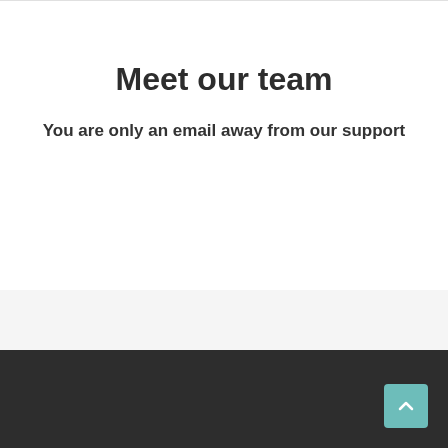Meet our team
You are only an email away from our support
Woolgoolga Real Estate
Woolgoolga Real Estate specialises in residential and rural properties in Woolgoolga, Emerald Beach, Corindi Beach and the surrounding